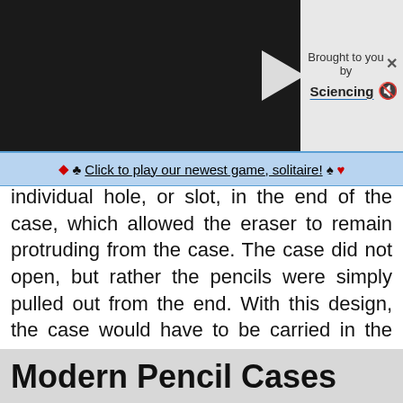[Figure (screenshot): Video player with dark background and white play button triangle, with 'Brought to you by Sciencing' panel on right]
♦ ♣ Click to play our newest game, solitaire! ♠ ♥
individual hole, or slot, in the end of the case, which allowed the eraser to remain protruding from the case. The case did not open, but rather the pencils were simply pulled out from the end. With this design, the case would have to be carried in the upright position in order for the pencils to stay in place. The case also had a stand to hold it upright on a desk or table. There was not room in the case for loose erasers or other writing implements and accessories.
Modern Pencil Cases